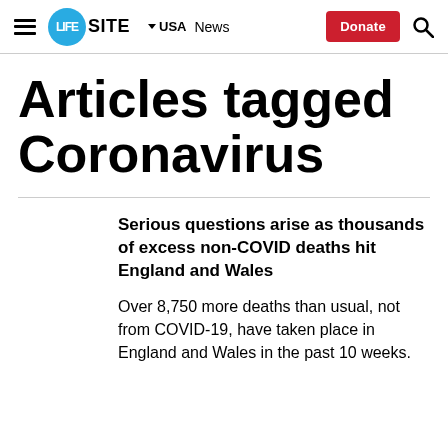LIFESITE ▾ USA News Donate
Articles tagged Coronavirus
Serious questions arise as thousands of excess non-COVID deaths hit England and Wales
Over 8,750 more deaths than usual, not from COVID-19, have taken place in England and Wales in the past 10 weeks.